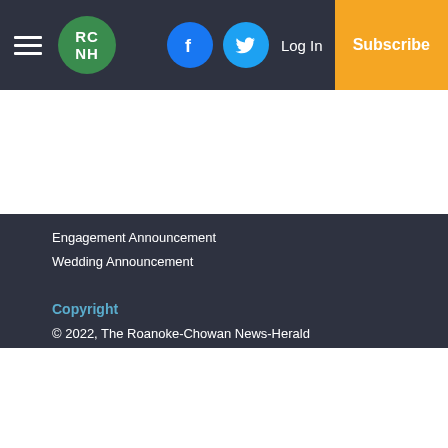RC NH | Log In | Subscribe
Engagement Announcement
Wedding Announcement
Copyright
© 2022, The Roanoke-Chowan News-Herald